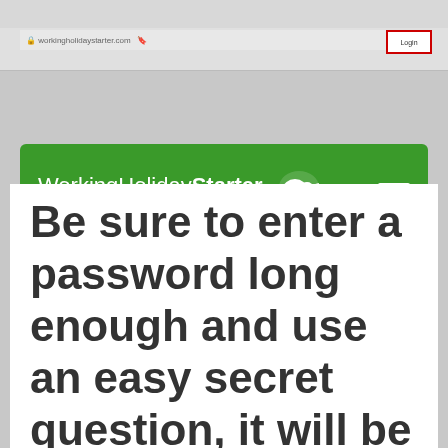[Figure (screenshot): Browser address bar with login button highlighted in red border]
WorkingHolidayStarter — Experience life, experience New Zealand
Be sure to enter a password long enough and use an easy secret question, it will be your only way to reset your password if you